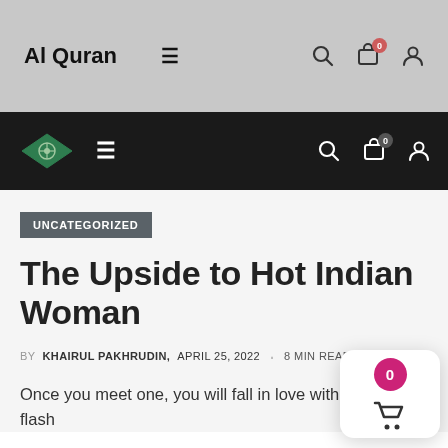Al Quran
[Figure (screenshot): Black navigation bar with green diamond logo, hamburger menu, search, cart (0), and user icons]
UNCATEGORIZED
The Upside to Hot Indian Woman
BY KHAIRUL PAKHRUDIN,  APRIL 25, 2022  ·  8 MIN READ
Once you meet one, you will fall in love with her in a flash